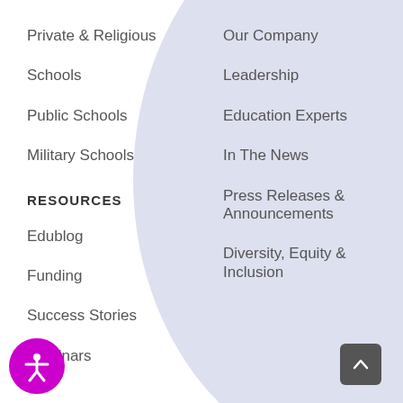Private & Religious
Schools
Public Schools
Military Schools
RESOURCES
Edublog
Funding
Success Stories
Webinars
Our Company
Leadership
Education Experts
In The News
Press Releases & Announcements
Diversity, Equity & Inclusion
[Figure (illustration): Purple circular accessibility icon button (person with arms outstretched) in bottom left corner]
[Figure (illustration): Dark grey rounded square back-to-top button with upward chevron arrow in bottom right corner]